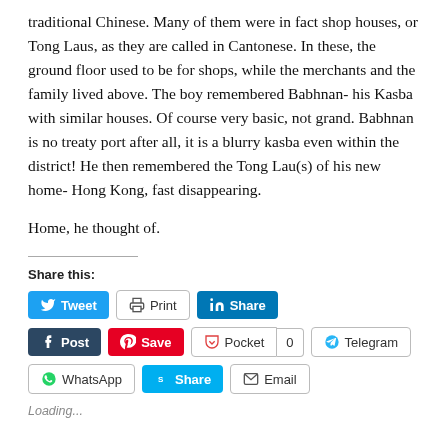traditional Chinese. Many of them were in fact shop houses, or Tong Laus, as they are called in Cantonese. In these, the ground floor used to be for shops, while the merchants and the family lived above. The boy remembered Babhnan- his Kasba with similar houses. Of course very basic, not grand. Babhnan is no treaty port after all, it is a blurry kasba even within the district! He then remembered the Tong Lau(s) of his new home- Hong Kong, fast disappearing.
Home, he thought of.
Share this:
[Figure (infographic): Social sharing buttons: Tweet, Print, Share (LinkedIn), Post (Tumblr), Save (Pinterest), Pocket (with count 0), Telegram, WhatsApp, Share (Skype), Email]
Loading...